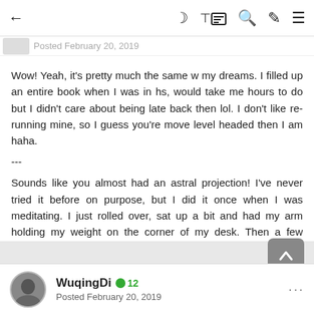← [nav icons: moon, grid, search, brush, menu]
Posted February 20, 2019
Wow! Yeah, it's pretty much the same w my dreams. I filled up an entire book when I was in hs, would take me hours to do but I didn't care about being late back then lol. I don't like re-running mine, so I guess you're move level headed then I am haha.
---
Sounds like you almost had an astral projection! I've never tried it before on purpose, but I did it once when I was meditating. I just rolled over, sat up a bit and had my arm holding my weight on the corner of my desk. Then a few moments later I was thinking 'Wait, why am I half sitting up? I'm trying to sleep'.  So I laid back down. Then I opened my eyes and realised I never moved. Was really strange, looked exactly like real life. :)
WuqingDi • 12 — Posted February 20, 2019